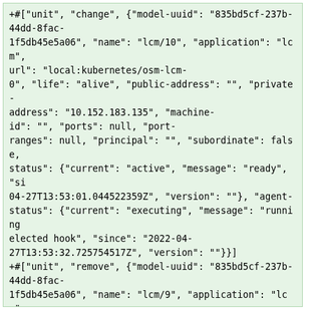+#["unit", "change", {"model-uuid": "835bd5cf-237b-44dd-8fac-1f5db45e5a06", "name": "lcm/10", "application": "lcm", "url": "local:kubernetes/osm-lcm-0", "life": "alive", "public-address": "", "private-address": "10.152.183.135", "machine-id": "", "ports": null, "port-ranges": null, "principal": "", "subordinate": false, "status": {"current": "active", "message": "ready", "si 04-27T13:53:01.044522359Z", "version": ""}, "agent-status": {"current": "executing", "message": "running elected hook", "since": "2022-04-27T13:53:32.725754517Z", "version": ""}}]
+#["unit", "remove", {"model-uuid": "835bd5cf-237b-44dd-8fac-1f5db45e5a06", "name": "lcm/9", "application": "lcm", "url": "local:kubernetes/osm-lcm-0", "life": "dead", "public-address": "", "private-address": "10.152.183.135", "machine-id": "", "ports": null, "port-ranges": null, "principal": "", "subordinate": false, "status": {"current": "terminated", "message": "", "sin 04-27T13:53:32.316608499Z", "version": ""}, "agent-status": {"current": "executing", "message": "running 04-27T13:53:31.185567398Z", "version": ""}}]